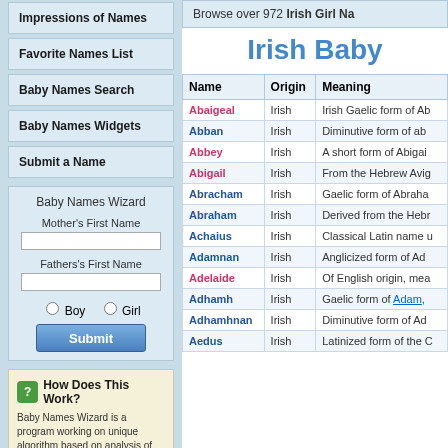Impressions of Names
Favorite Names List
Baby Names Search
Baby Names Widgets
Submit a Name
Baby Names Wizard
Mother's First Name
Fathers's First Name
Boy  Girl
Submit
How Does This Work?
Baby Names Wizard is a program working on unique algorithm based on analysis of parents' names, origins and meanings.
Click here to put this program on your site or blog for free!
Browse over 972 Irish Girl Na...
Irish Baby
| Name | Origin | Meaning |
| --- | --- | --- |
| Abaigeal | Irish | Irish Gaelic form of Ab... |
| Abban | Irish | Diminutive form of ab... |
| Abbey | Irish | A short form of Abigai... |
| Abigail | Irish | From the Hebrew Avig... |
| Abracham | Irish | Gaelic form of Abraha... |
| Abraham | Irish | Derived from the Hebr... |
| Achaius | Irish | Classical Latin name u... |
| Adamnan | Irish | Anglicized form of Ad... |
| Adelaide | Irish | Of English origin, mea... |
| Adhamh | Irish | Gaelic form of Adam,... |
| Adhamhnan | Irish | Diminutive form of Ad... |
| Aedus | Irish | Latinized form of the C... |